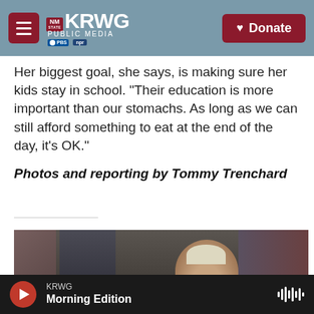KRWG PUBLIC MEDIA · NM State · PBS · NPR | Donate
Her biggest goal, she says, is making sure her kids stay in school. "Their education is more important than our stomachs. As long as we can still afford something to eat at the end of the day, it's OK."
Photos and reporting by Tommy Trenchard
[Figure (photo): A young man wearing a cap standing in what appears to be a clothing shop or market stall with garments hanging around him.]
KRWG · Morning Edition